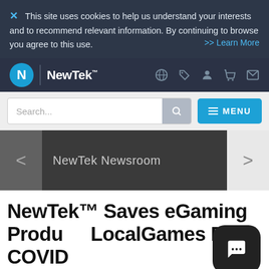✕  This site uses cookies to help us understand your interests and to recommend relevant information. By continuing to browse you agree to this use.   >> Learn More
[Figure (logo): NewTek logo with N icon and wordmark in white on dark navy navigation bar, with globe, tag, user, cart, and envelope icons on the right]
[Figure (screenshot): Search bar with placeholder 'Search...' and blue search icon button, and a blue MENU button with hamburger lines on the right]
NewTek Newsroom
NewTek™ Saves eGaming Products LocalGames From COVID